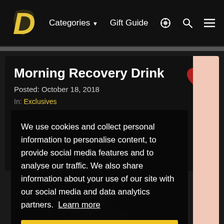Categories ▼   Gift Guide
Morning Recovery Drink
Posted: October 18, 2018
In: Exclusives
We use cookies and collect personal information to personalise content, to provide social media features and to analyse our traffic. We also share information about your use of our site with our social media and data analytics partners. Learn more
Got it!